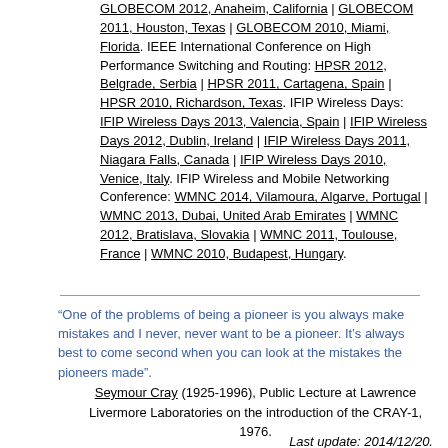GLOBECOM 2012, Anaheim, California | GLOBECOM 2011, Houston, Texas | GLOBECOM 2010, Miami, Florida. IEEE International Conference on High Performance Switching and Routing: HPSR 2012, Belgrade, Serbia | HPSR 2011, Cartagena, Spain | HPSR 2010, Richardson, Texas. IFIP Wireless Days: IFIP Wireless Days 2013, Valencia, Spain | IFIP Wireless Days 2012, Dublin, Ireland | IFIP Wireless Days 2011, Niagara Falls, Canada | IFIP Wireless Days 2010, Venice, Italy. IFIP Wireless and Mobile Networking Conference: WMNC 2014, Vilamoura, Algarve, Portugal | WMNC 2013, Dubai, United Arab Emirates | WMNC 2012, Bratislava, Slovakia | WMNC 2011, Toulouse, France | WMNC 2010, Budapest, Hungary.
“One of the problems of being a pioneer is you always make mistakes and I never, never want to be a pioneer. It’s always best to come second when you can look at the mistakes the pioneers made”.
Seymour Cray (1925-1996), Public Lecture at Lawrence Livermore Laboratories on the introduction of the CRAY-1, 1976.
Last update: 2014/12/20.